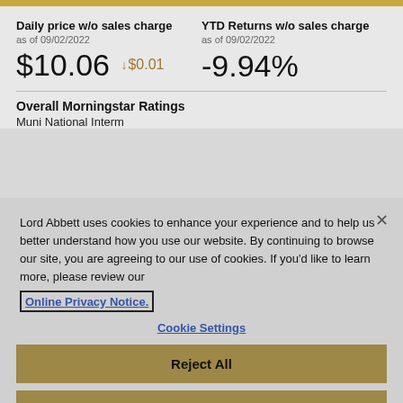Daily price w/o sales charge
as of 09/02/2022
$10.06 ↓$0.01
YTD Returns w/o sales charge
as of 09/02/2022
-9.94%
Overall Morningstar Ratings
Muni National Interm
Lord Abbett uses cookies to enhance your experience and to help us better understand how you use our website. By continuing to browse our site, you are agreeing to our use of cookies. If you'd like to learn more, please review our Online Privacy Notice.
Cookie Settings
Reject All
Accept Cookies